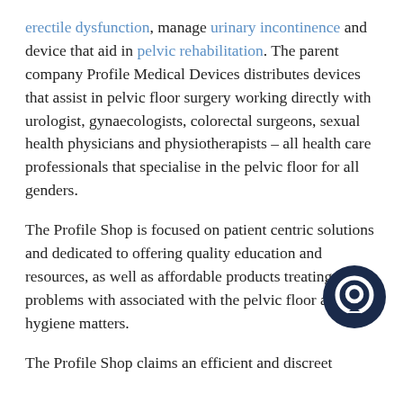erectile dysfunction, manage urinary incontinence and device that aid in pelvic rehabilitation. The parent company Profile Medical Devices distributes devices that assist in pelvic floor surgery working directly with urologist, gynaecologists, colorectal surgeons, sexual health physicians and physiotherapists – all health care professionals that specialise in the pelvic floor for all genders.
The Profile Shop is focused on patient centric solutions and dedicated to offering quality education and resources, as well as affordable products treating problems with associated with the pelvic floor and hygiene matters.
The Profile Shop claims an efficient and discreet